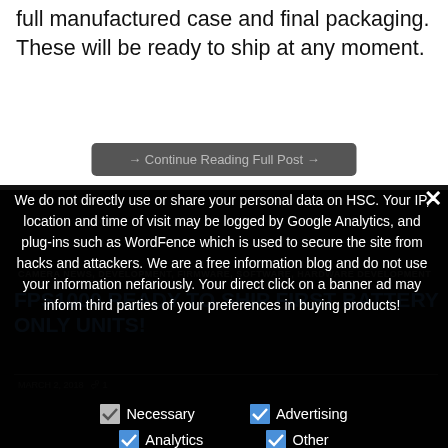full manufactured case and final packaging. These will be ready to ship at any moment.
→ Continue Reading Full Post →
We do not directly use or share your personal data on HSC. Your IP, location and time of visit may be logged by Google Analytics, and plug-ins such as WordFence which is used to secure the site from hacks and attackers. We are a free information blog and do not use your information nefariously. Your direct click on a banner ad may inform third parties of your preferences in buying products!
CAMERA NEWS, DEVELOPMENT, FIRMWARE, SOFTWARE, HARDWARE DEVELOPMENT
FPS1000 READY TO SHIP FIRST BATTERY ONLY UNITS!
Necessary  Advertising  Analytics  Other
❯ Privacy Preferences
I Agree